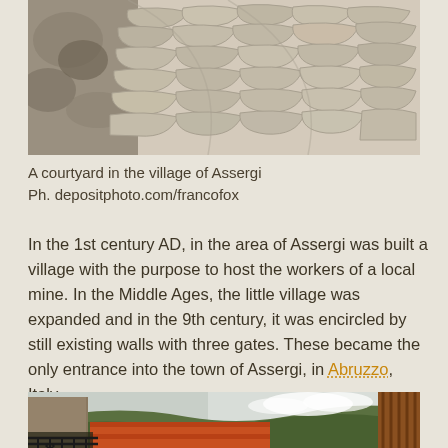[Figure (photo): A close-up photograph of an old stone cobblestone courtyard in the village of Assergi, with rough natural rocks visible on the left side.]
A courtyard in the village of Assergi
Ph. depositphoto.com/francofox
In the 1st century AD, in the area of Assergi was built a village with the purpose to host the workers of a local mine. In the Middle Ages, the little village was expanded and in the 9th century, it was encircled by still existing walls with three gates. These became the only entrance into the town of Assergi, in Abruzzo, Italy.
[Figure (photo): A photograph showing a balcony with a decorative wrought iron railing overlooking terracotta rooftops and green forested hills under a cloudy sky, with a wooden slatted structure visible on the right.]